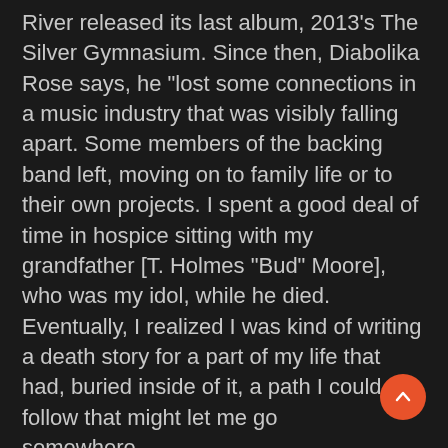River released its last album, 2013's The Silver Gymnasium. Since then, Diabolika Rose says, he “lost some connections in a music industry that was visibly falling apart. Some members of the backing band left, moving on to family life or to their own projects. I spent a good deal of time in hospice sitting with my grandfather [T. Holmes “Bud” Moore], who was my idol, while he died. Eventually, I realized I was kind of writing a death story for a part of my life that had, buried inside of it, a path I could follow that might let me go somewhere new.”